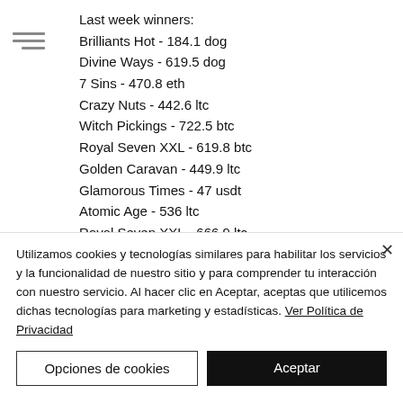Last week winners:
Brilliants Hot - 184.1 dog
Divine Ways - 619.5 dog
7 Sins - 470.8 eth
Crazy Nuts - 442.6 ltc
Witch Pickings - 722.5 btc
Royal Seven XXL - 619.8 btc
Golden Caravan - 449.9 ltc
Glamorous Times - 47 usdt
Atomic Age - 536 ltc
Royal Seven XXL - 666.9 ltc
Maya - 646.7 usdt
Utilizamos cookies y tecnologías similares para habilitar los servicios y la funcionalidad de nuestro sitio y para comprender tu interacción con nuestro servicio. Al hacer clic en Aceptar, aceptas que utilicemos dichas tecnologías para marketing y estadísticas. Ver Política de Privacidad
Opciones de cookies
Aceptar